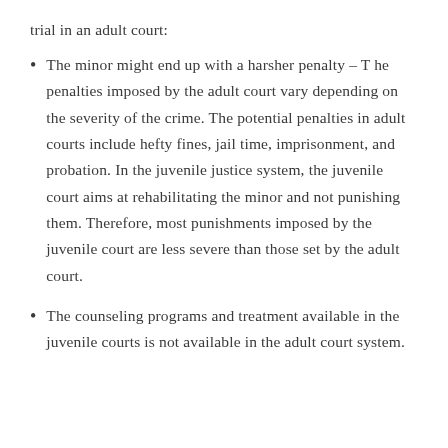trial in an adult court:
The minor might end up with a harsher penalty – T he penalties imposed by the adult court vary depending on the severity of the crime. The potential penalties in adult courts include hefty fines, jail time, imprisonment, and probation. In the juvenile justice system, the juvenile court aims at rehabilitating the minor and not punishing them. Therefore, most punishments imposed by the juvenile court are less severe than those set by the adult court.
The counseling programs and treatment available in the juvenile courts is not available in the adult court system.